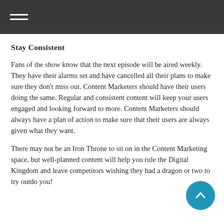Stay Consistent
Fans of the show know that the next episode will be aired weekly. They have their alarms set and have cancelled all their plans to make sure they don't miss out. Content Marketers should have their users doing the same. Regular and consistent content will keep your users engaged and looking forward to more. Content Marketers should always have a plan of action to make sure that their users are always given what they want.
There may not be an Iron Throne to sit on in the Content Marketing space, but well-planned content will help you rule the Digital Kingdom and leave competitors wishing they had a dragon or two to try outdo you!